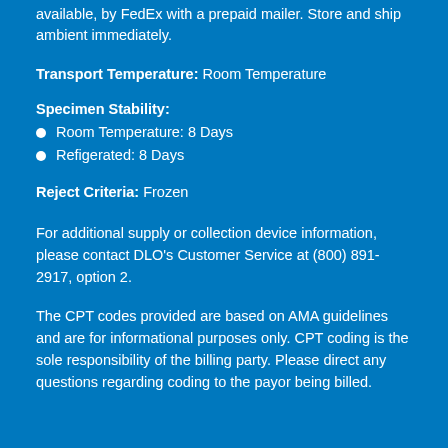available, by FedEx with a prepaid mailer. Store and ship ambient immediately.
Transport Temperature: Room Temperature
Specimen Stability:
Room Temperature: 8 Days
Refigerated: 8 Days
Reject Criteria: Frozen
For additional supply or collection device information, please contact DLO’s Customer Service at (800) 891-2917, option 2.
The CPT codes provided are based on AMA guidelines and are for informational purposes only. CPT coding is the sole responsibility of the billing party. Please direct any questions regarding coding to the payor being billed.